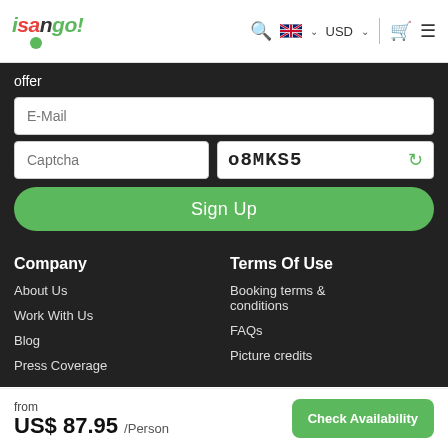isango! header with search, language selector (USD), cart and menu icons
offer
E-Mail
Captcha
o8MKS5
Sign Up
Company
About Us
Work With Us
Blog
Press Coverage
Terms Of Use
Booking terms & conditions
FAQs
Picture credits
from US$ 87.95 /Person   Check Availability